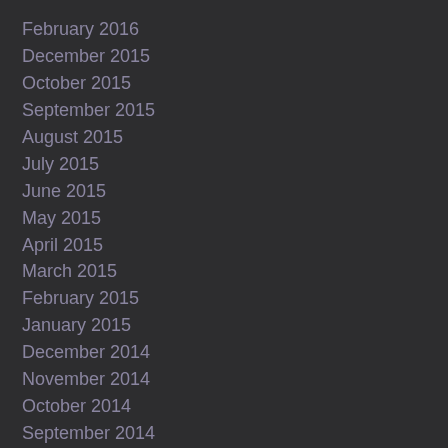February 2016
December 2015
October 2015
September 2015
August 2015
July 2015
June 2015
May 2015
April 2015
March 2015
February 2015
January 2015
December 2014
November 2014
October 2014
September 2014
August 2014
July 2014
June 2014
May 2014